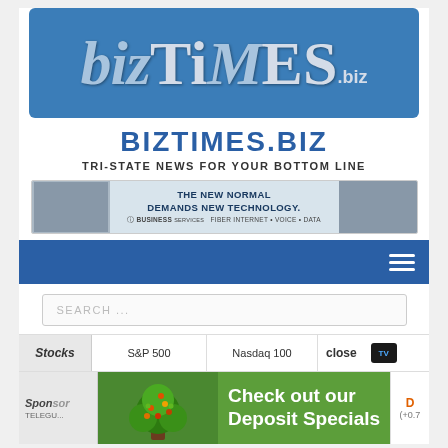[Figure (logo): bizTiMES.biz logo on blue background with stylized serif text]
BIZTIMES.BIZ
TRI-STATE NEWS FOR YOUR BOTTOM LINE
[Figure (infographic): Advertisement banner: THE NEW NORMAL DEMANDS NEW TECHNOLOGY. Business Services FIBER INTERNET • VOICE • DATA]
[Figure (screenshot): Blue navigation bar with hamburger menu icon]
SEARCH ...
Stocks  S&P 500  Nasdaq 100  close  [TradingView logo]
Sponsor
[Figure (infographic): Green advertisement banner: Check out our Deposit Specials, with tree illustration on left. Overlapping stocks ticker showing D (+0.7]